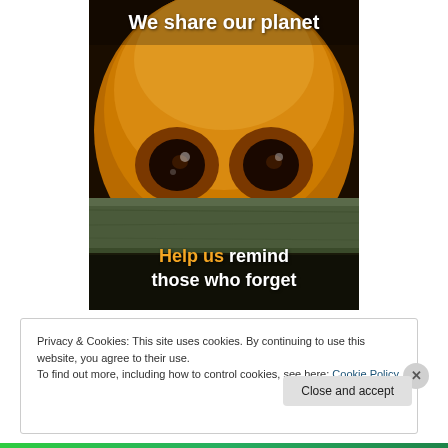[Figure (photo): Close-up photo of a primate (likely an orangutan or similar ape) peeking over a wooden plank or barrier. The animal's large dark eyes are visible above the plank. White bold text at the top reads 'We share our planet'. Text at the bottom reads 'Help us remind those who forget' with 'Help us' in orange and the rest in white.]
Privacy & Cookies: This site uses cookies. By continuing to use this website, you agree to their use.
To find out more, including how to control cookies, see here: Cookie Policy
Close and accept